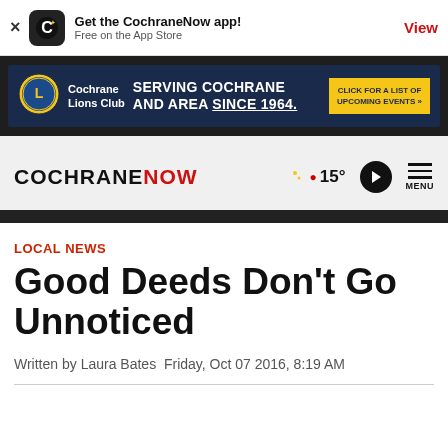Get the CochraneNow app! Free on the App Store  View
[Figure (infographic): Cochrane Lions Club advertisement banner: dark navy background with Lions Club logo, text 'SERVING COCHRANE AND AREA SINCE 1964.' and yellow CTA button 'CLICK FOR A LIST OF UPCOMING EVENTS »']
COCHRANENOW  15°  MENU
LOCAL NEWS
Good Deeds Don't Go Unnoticed
Written by Laura Bates  Friday, Oct 07 2016, 8:19 AM